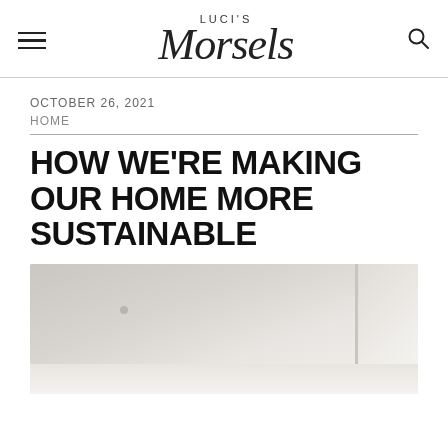LUCI'S Morsels
OCTOBER 26, 2021
HOME
HOW WE'RE MAKING OUR HOME MORE SUSTAINABLE
[Figure (photo): A close-up photo of a ceiling with a recessed light fixture and white crown molding in the corner]